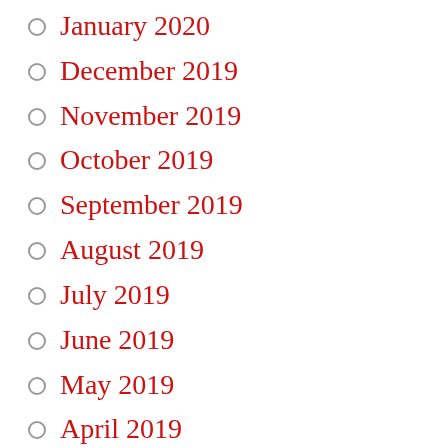January 2020
December 2019
November 2019
October 2019
September 2019
August 2019
July 2019
June 2019
May 2019
April 2019
March 2019